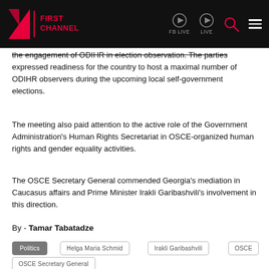FIRST CHANNEL | FB LIVE  LIVE
the engagement of ODIHR in election observation. The parties expressed readiness for the country to host a maximal number of ODIHR observers during the upcoming local self-government elections.
The meeting also paid attention to the active role of the Government Administration's Human Rights Secretariat in OSCE-organized human rights and gender equality activities.
The OSCE Secretary General commended Georgia's mediation in Caucasus affairs and Prime Minister Irakli Garibashvili's involvement in this direction.
By - Tamar Tabatadze
Politics
Helga Maria Schmid
Irakli Garibashvili
OSCE
OSCE Secretary General